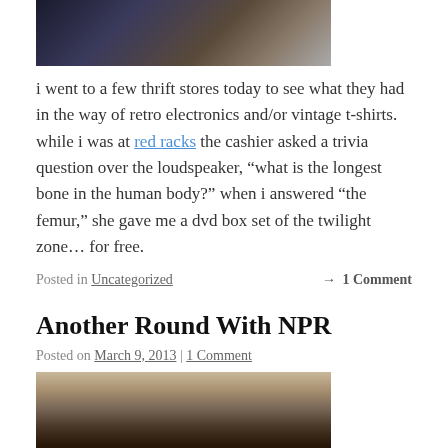[Figure (photo): Partial top photo of what appears to be a Twilight Zone DVD box set, cropped at top]
i went to a few thrift stores today to see what they had in the way of retro electronics and/or vintage t-shirts. while i was at red racks the cashier asked a trivia question over the loudspeaker, “what is the longest bone in the human body?” when i answered “the femur,” she gave me a dvd box set of the twilight zone… for free.
Posted in Uncategorized → 1 Comment
Another Round With NPR
Posted on March 9, 2013 | 1 Comment
[Figure (photo): Photo of a person with dark hair, cropped, appears to be sitting indoors]